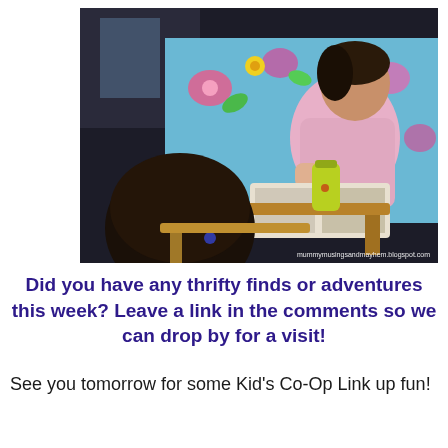[Figure (photo): Two children at a small wooden table. One child in a pink sweatshirt is sitting on a bed with colorful floral bedding, reading/looking at a book, with a yellow water bottle on the table. Another child with dark hair is seen from behind in the foreground. Watermark: mummymusingsandmayhem.blogspot.com]
Did you have any thrifty finds or adventures this week? Leave a link in the comments so we can drop by for a visit!
See you tomorrow for some Kid's Co-Op Link up fun!